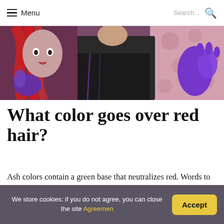Menu | Search...
[Figure (photo): A woman with bright red hair wearing purple gloves, and another person in a black salon cape, with a pink floral background. Hair coloring scene.]
What color goes over red hair?
Ash colors contain a green base that neutralizes red. Words to look for include cool and ash . Always use cool, ash colors to cover red hair color if you don't want to see any red tones peeking through. Hair color starts to oxidize as soon
We store cookies: if you do not agree, you can close the site Agreemen